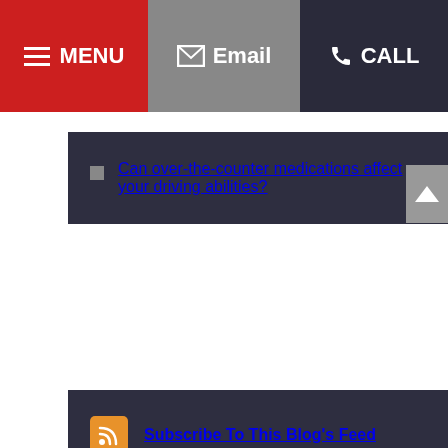MENU | equences of multiple | Email | CALL
Can over-the-counter medications affect your driving abilities?
Subscribe To This Blog's Feed